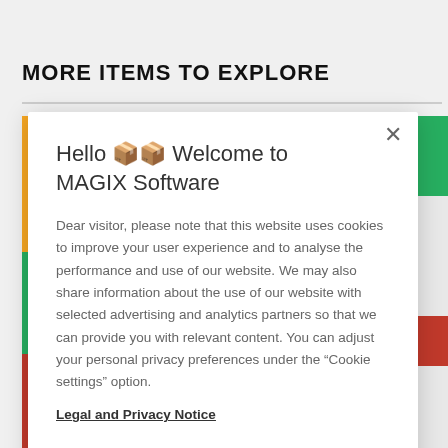MORE ITEMS TO EXPLORE
[Figure (screenshot): Cookie consent modal dialog from MAGIX Software website with title 'Hello 🌍 Welcome to MAGIX Software', body text about cookie usage, Legal and Privacy Notice link, Cookie Settings button, and OK button]
Hello 🌍 Welcome to MAGIX Software
Dear visitor, please note that this website uses cookies to improve your user experience and to analyse the performance and use of our website. We may also share information about the use of our website with selected advertising and analytics partners so that we can provide you with relevant content. You can adjust your personal privacy preferences under the "Cookie settings" option.
Legal and Privacy Notice
Cookie Settings
OK